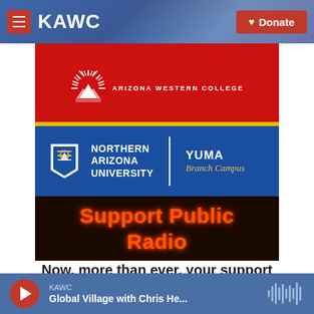KAWC | Donate
[Figure (photo): Digital signage board showing Arizona Western College logo/sign on top (red background with sunburst logo), Northern Arizona University Yuma Branch Campus sign in the middle (blue background with NAU shield logo), and 'Support Public Radio' text on bottom (dark background with orange/red LED text).]
Now, more than ever, your support powers KAWC!
KAWC — Global Village with Chris He...